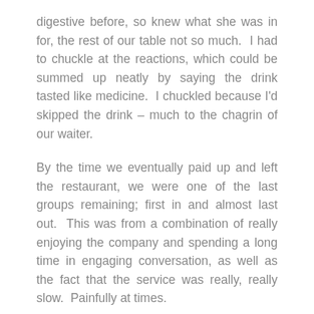digestive before, so knew what she was in for, the rest of our table not so much.  I had to chuckle at the reactions, which could be summed up neatly by saying the drink tasted like medicine.  I chuckled because I'd skipped the drink – much to the chagrin of our waiter.
By the time we eventually paid up and left the restaurant, we were one of the last groups remaining; first in and almost last out.  This was from a combination of really enjoying the company and spending a long time in engaging conversation, as well as the fact that the service was really, really slow.  Painfully at times.
Look, the wait staff were friendly enough, in fact, they were really good when they were paying attention; it